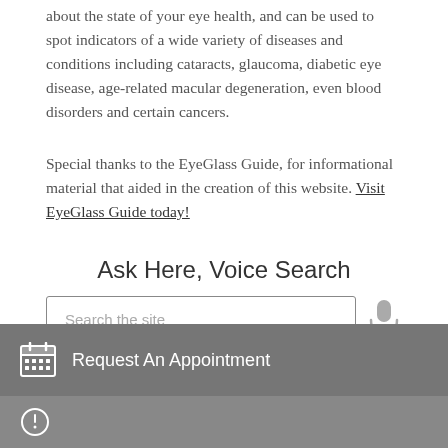about the state of your eye health, and can be used to spot indicators of a wide variety of diseases and conditions including cataracts, glaucoma, diabetic eye disease, age-related macular degeneration, even blood disorders and certain cancers.
Special thanks to the EyeGlass Guide, for informational material that aided in the creation of this website. Visit EyeGlass Guide today!
Ask Here, Voice Search
[Figure (other): Search input box with placeholder text 'Search the site' and a microphone icon]
[Figure (other): Dark grey bar with calendar icon and text 'Request An Appointment']
[Figure (other): Partially visible dark grey bar at the bottom of the page]